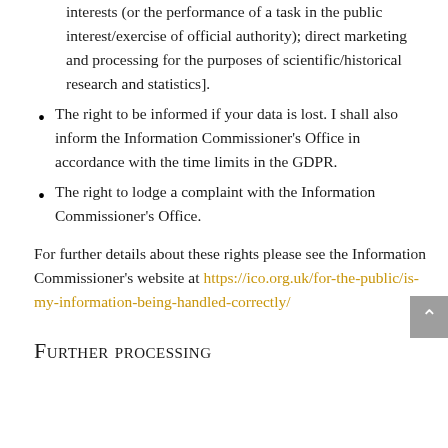interests (or the performance of a task in the public interest/exercise of official authority); direct marketing and processing for the purposes of scientific/historical research and statistics].
The right to be informed if your data is lost. I shall also inform the Information Commissioner's Office in accordance with the time limits in the GDPR.
The right to lodge a complaint with the Information Commissioner's Office.
For further details about these rights please see the Information Commissioner's website at https://ico.org.uk/for-the-public/is-my-information-being-handled-correctly/
Further processing